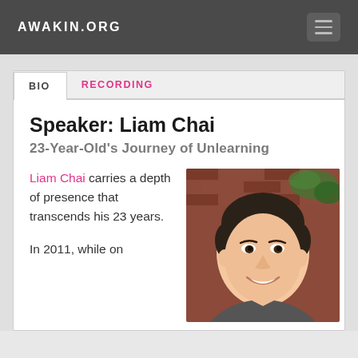AWAKIN.ORG
BIO | RECORDING
Speaker: Liam Chai
23-Year-Old's Journey of Unlearning
Liam Chai carries a depth of presence that transcends his 23 years.
[Figure (photo): Portrait photo of Liam Chai, a young Asian man smiling, photographed outdoors in front of a brick wall with greenery]
In 2011, while on